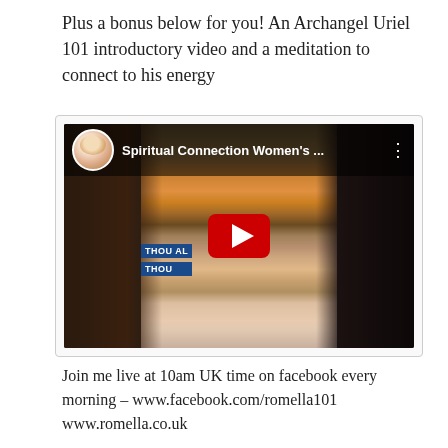Plus a bonus below for you! An Archangel Uriel 101 introductory video and a meditation to connect to his energy
[Figure (screenshot): YouTube video thumbnail showing a woman holding an angel card, with a circular avatar and title 'Spiritual Connection Women's ...' in the top bar, and a red YouTube play button overlay in the center]
Join me live at 10am UK time on facebook every morning – www.facebook.com/romella101 www.romella.co.uk